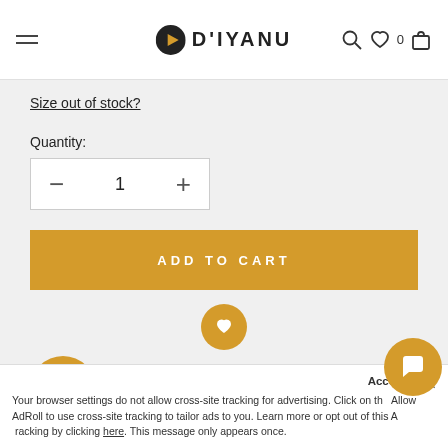D'IYANU
Size out of stock?
Quantity:
1
ADD TO CART
Accept
Your browser settings do not allow cross-site tracking for advertising. Click on the Allow AdRoll to use cross-site tracking to tailor ads to you. Learn more or opt out of this AdRoll tracking by clicking here. This message only appears once.